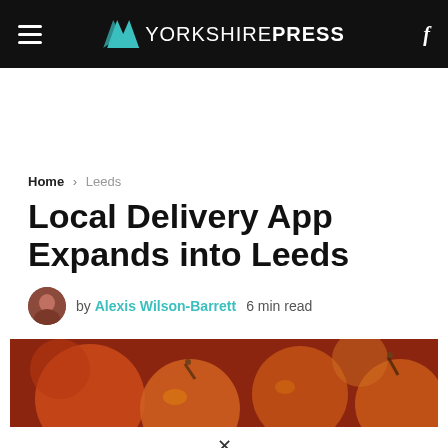YORKSHIRE PRESS
Home > Leeds
Local Delivery App Expands into Leeds
by Alexis Wilson-Barrett   6 min read
[Figure (photo): Close-up photo of oranges or citrus fruit with stems, warm reddish-orange tones]